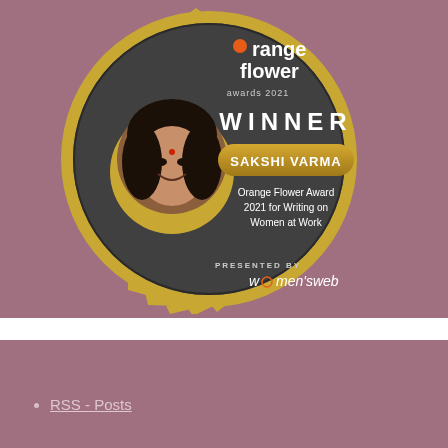[Figure (illustration): Orange Flower Awards 2021 Winner badge for Sakshi Varma — Orange Flower Award 2021 for Writing on Women at Work. Presented by Women's Web. Shows a circular dark badge with gold serrated border, a circular photo of a woman on the left, and text on the right including the award name, winner name in a gold pill badge, and the Women's Web logo at the bottom.]
RSS - Posts